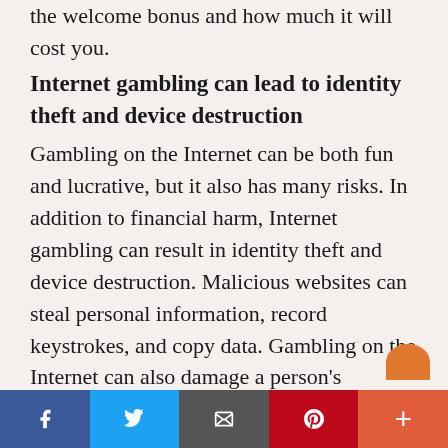the welcome bonus and how much it will cost you.
Internet gambling can lead to identity theft and device destruction
Gambling on the Internet can be both fun and lucrative, but it also has many risks. In addition to financial harm, Internet gambling can result in identity theft and device destruction. Malicious websites can steal personal information, record keystrokes, and copy data. Gambling on the Internet can also damage a person's